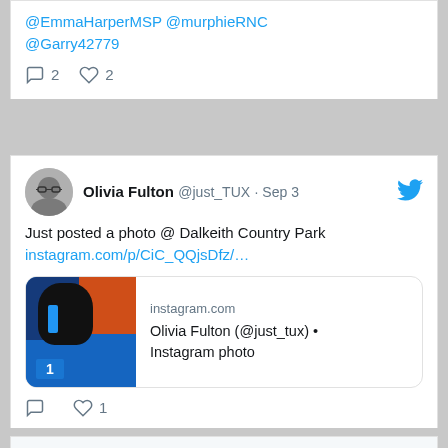@EmmaHarperMSP @murphieRNC @Garry42779
2 replies, 2 likes
Olivia Fulton @just_TUX · Sep 3
Just posted a photo @ Dalkeith Country Park instagram.com/p/CiC_QQjsDfz/…
[Figure (screenshot): Instagram link preview showing a dog on a podium with number 1, instagram.com, Olivia Fulton (@just_tux) • Instagram photo]
0 replies, 1 like
View more on Twitter
Learn more about privacy on Twitter